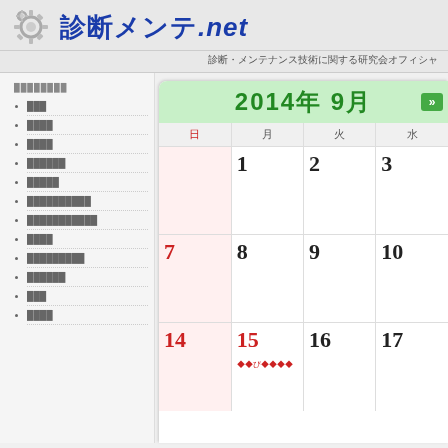診断メンテ.net
診断・メンテナンス技術に関する研究会オフィシャ
メニュー項目1
メニュー項目2
メニュー項目3
メニュー項目4
メニュー項目5
メニュー項目6
メニュー項目7
メニュー項目8
メニュー項目9
メニュー項目10
メニュー項目11
| 日 | 月 | 火 | 水 |
| --- | --- | --- | --- |
|  | 1 | 2 | 3 |
| 7 | 8 | 9 | 10 |
| 14 | 15 | 16 | 17 |
2014年 9月